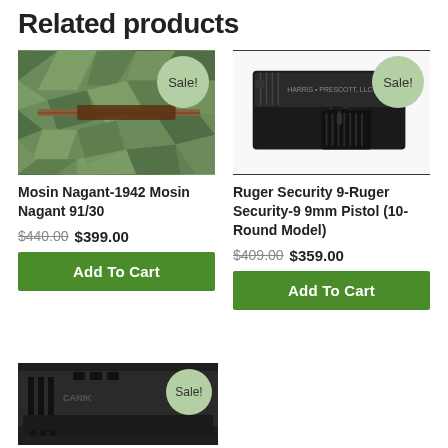Related products
[Figure (photo): Mosin Nagant rifle on camouflage background with Sale! badge]
Mosin Nagant-1942 Mosin Nagant 91/30
$440.00 $399.00
Add To Cart
[Figure (photo): Ruger Security-9 9mm pistol on white background with Sale! badge]
Ruger Security 9-Ruger Security-9 9mm Pistol (10-Round Model)
$409.00 $359.00
Add To Cart
[Figure (photo): Dark pistol slide/frame on white background with Sale! badge]